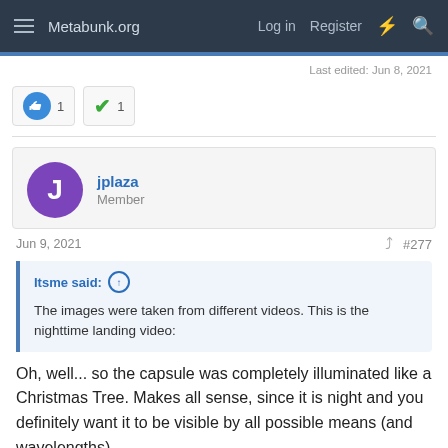Metabunk.org  Log in  Register
Last edited: Jun 8, 2021
1  1
jplaza
Member
Jun 9, 2021  #277
Itsme said:
The images were taken from different videos. This is the nighttime landing video:
Oh, well... so the capsule was completely illuminated like a Christmas Tree. Makes all sense, since it is night and you definitely want it to be visible by all possible means (and wavelengths)